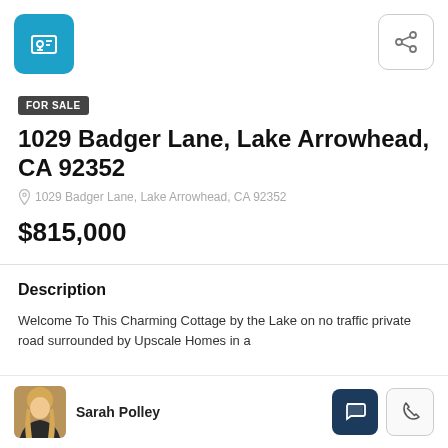[Figure (screenshot): Blue rounded square icon with house/presentation screen icon]
[Figure (screenshot): Share icon button with outline border]
FOR SALE
1029 Badger Lane, Lake Arrowhead, CA 92352
1029 Badger Lane, Lake Arrowhead, CA 92352
$815,000
Description
Welcome To This Charming Cottage by the Lake on no traffic private road surrounded by Upscale Homes in a
Sarah Polley